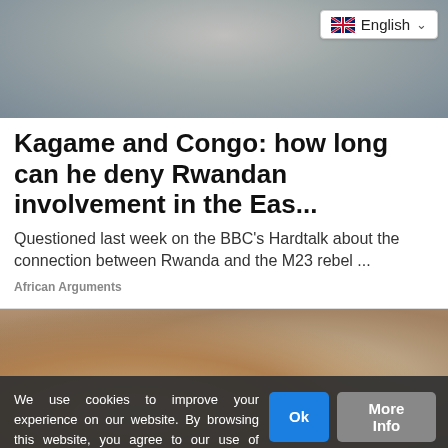[Figure (photo): Blurred photo of a man in a suit, used as article header image]
English (language selector dropdown)
Kagame and Congo: how long can he deny Rwandan involvement in the Eas...
Questioned last week on the BBC's Hardtalk about the connection between Rwanda and the M23 rebel ...
African Arguments
[Figure (photo): Close-up photo of hands with a wearable device/smart ring near a water tap]
We use cookies to improve your experience on our website. By browsing this website, you agree to our use of cookies.